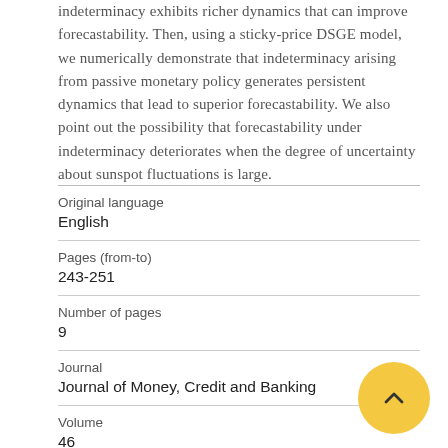indeterminacy exhibits richer dynamics that can improve forecastability. Then, using a sticky-price DSGE model, we numerically demonstrate that indeterminacy arising from passive monetary policy generates persistent dynamics that lead to superior forecastability. We also point out the possibility that forecastability under indeterminacy deteriorates when the degree of uncertainty about sunspot fluctuations is large.
| Original language | English |
| Pages (from-to) | 243-251 |
| Number of pages | 9 |
| Journal | Journal of Money, Credit and Banking |
| Volume | 46 |